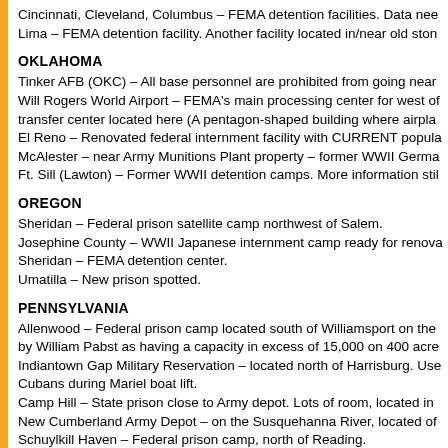Cincinnati, Cleveland, Columbus – FEMA detention facilities. Data nee... Lima – FEMA detention facility. Another facility located in/near old ston...
OKLAHOMA
Tinker AFB (OKC) – All base personnel are prohibited from going near... Will Rogers World Airport – FEMA's main processing center for west of... transfer center located here (A pentagon-shaped building where airpla... El Reno – Renovated federal internment facility with CURRENT popula... McAlester – near Army Munitions Plant property – former WWII Germa... Ft. Sill (Lawton) – Former WWII detention camps. More information stil...
OREGON
Sheridan – Federal prison satellite camp northwest of Salem.
Josephine County – WWII Japanese internment camp ready for renova...
Sheridan – FEMA detention center.
Umatilla – New prison spotted.
PENNSYLVANIA
Allenwood – Federal prison camp located south of Williamsport on the... by William Pabst as having a capacity in excess of 15,000 on 400 acre... Indiantown Gap Military Reservation – located north of Harrisburg. Use... Cubans during Mariel boat lift.
Camp Hill – State prison close to Army depot. Lots of room, located in... New Cumberland Army Depot – on the Susquehanna River, located of... Schuylkill Haven – Federal prison camp, north of Reading.
RHODE ISLAND. NO INFORMATION AVAILABLE. Does not mean tha...